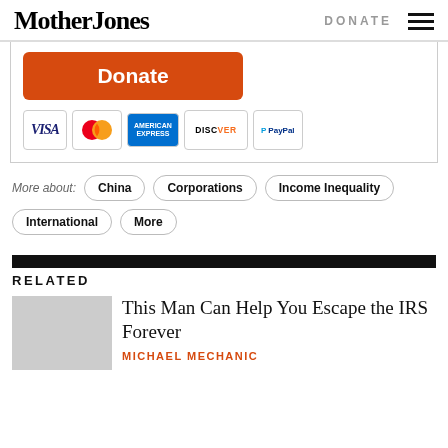Mother Jones | DONATE
[Figure (screenshot): Donate button (orange) with payment icons: VISA, MasterCard, American Express, Discover, PayPal]
More about: China  Corporations  Income Inequality  International  More
RELATED
This Man Can Help You Escape the IRS Forever
MICHAEL MECHANIC